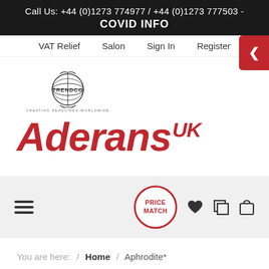Call Us: +44 (0)1273 774977 / +44 (0)1273 777503 - COVID INFO
VAT Relief   Salon   Sign In   Register
[Figure (logo): Trendco globe logo with text 'TRENDCO' and 'CREATING HEADLINES WORLDWIDE', combined with Aderans UK logo in red italic bold text]
[Figure (infographic): Navigation toolbar with hamburger menu icon on left, Price Match circular badge, heart icon, compare icon, and shopping bag icon on right]
You are here:  /  Home  /  Aphrodite*